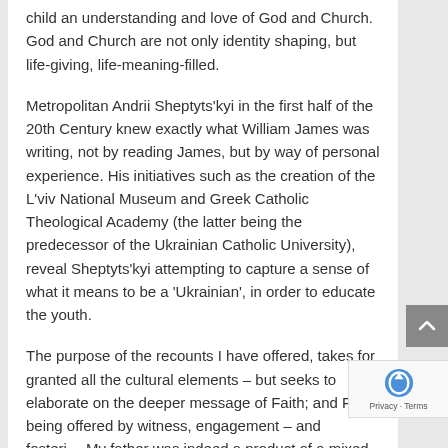child an understanding and love of God and Church. God and Church are not only identity shaping, but life-giving, life-meaning-filled.
Metropolitan Andrii Sheptyts'kyi in the first half of the 20th Century knew exactly what William James was writing, not by reading James, but by way of personal experience. His initiatives such as the creation of the L'viv National Museum and Greek Catholic Theological Academy (the latter being the predecessor of the Ukrainian Catholic University), reveal Sheptyts'kyi attempting to capture a sense of what it means to be a 'Ukrainian', in order to educate the youth.
The purpose of the recounts I have offered, takes for granted all the cultural elements – but seeks to elaborate on the deeper message of Faith; and Faith being offered by witness, engagement – and fostering. My father was indeed a product of a mixed marriage,